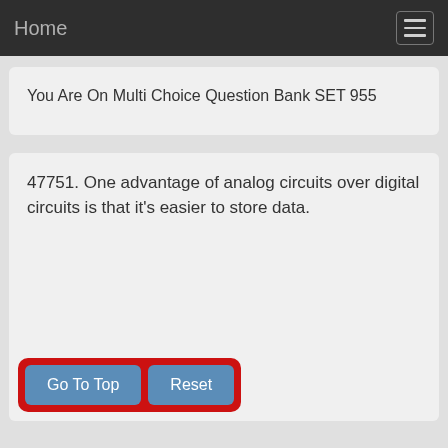Home
You Are On Multi Choice Question Bank SET 955
47751. One advantage of analog circuits over digital circuits is that it's easier to store data.